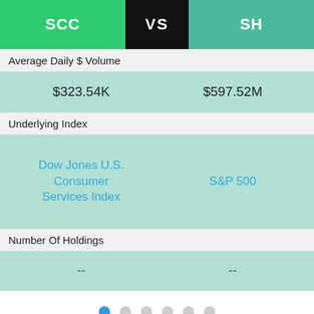| SCC | VS | SH |
| --- | --- | --- |
| Average Daily $ Volume |  |  |
| $323.54K |  | $597.52M |
| Underlying Index |  |  |
| Dow Jones U.S. Consumer Services Index |  | S&P 500 |
| Number Of Holdings |  |  |
| -- |  | -- |
[Figure (other): Pagination dots: 6 dots, first one active (blue), rest gray]
ETF.com has an updated privacy policy.
Click here to learn more.  I Understand